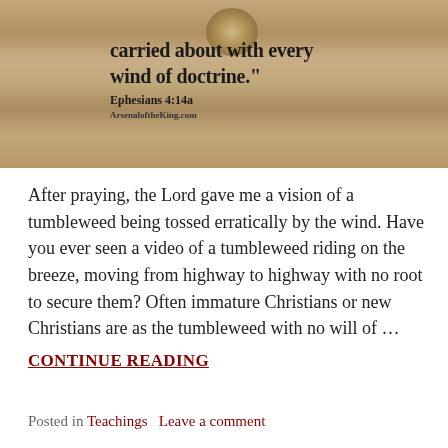[Figure (photo): Sepia-toned photograph of a dusty landscape with a tumbleweed, overlaid with blackletter text quoting Ephesians 4:14a: 'carried about with every wind of doctrine.' Attribution: ArsenaloftheKing.com]
After praying, the Lord gave me a vision of a tumbleweed being tossed erratically by the wind. Have you ever seen a video of a tumbleweed riding on the breeze, moving from highway to highway with no root to secure them? Often immature Christians or new Christians are as the tumbleweed with no will of …
CONTINUE READING
Posted in Teachings   Leave a comment